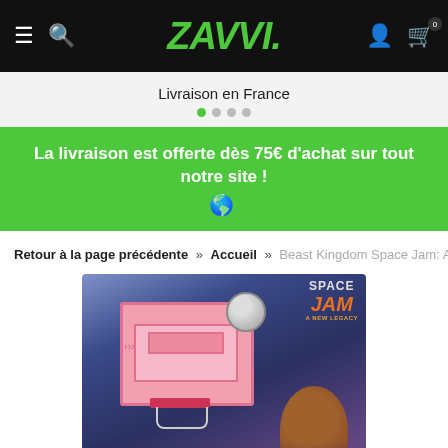ZAVVI. navigation bar with hamburger menu, search, logo, user icon, cart (0)
Livraison en France
La livraison est offerte dès 75€ d'achat sur tout notre site !
Retour à la page précédente » Accueil » Beast Kingdom Space Jam: A New...
[Figure (photo): Product photo of a Beast Kingdom Space Jam: A New Legacy figurine showing Taz dunking a basketball, with the Space Jam A New Legacy logo in the top right corner of the image.]